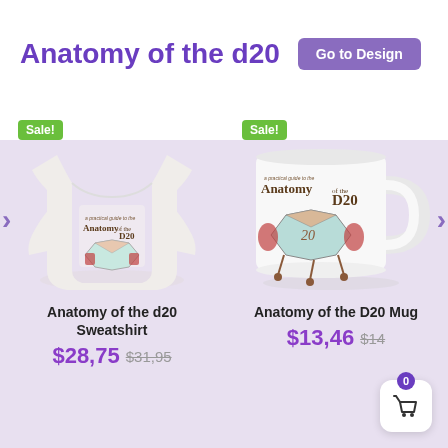Anatomy of the d20
Go to Design
[Figure (photo): White sweatshirt featuring 'Anatomy of the D20' design with dice illustration, shown with a green 'Sale!' badge]
Anatomy of the d20 Sweatshirt
$28,75 $31,95
[Figure (photo): White ceramic mug featuring 'Anatomy of the D20' design with dice illustration, shown with a green 'Sale!' badge]
Anatomy of the D20 Mug
$13,46 $14